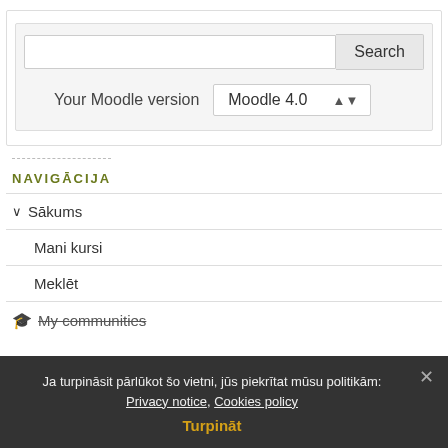[Figure (screenshot): Search box with text input and Search button, and Your Moodle version dropdown set to Moodle 4.0]
NAVIGĀCIJA
∨ Sākums
Mani kursi
Meklēt
🎓 My communities
> Plugins
Ja turpināsit pārlūkot šo vietni, jūs piekrītat mūsu politikām: Privacy notice, Cookies policy
Turpināt